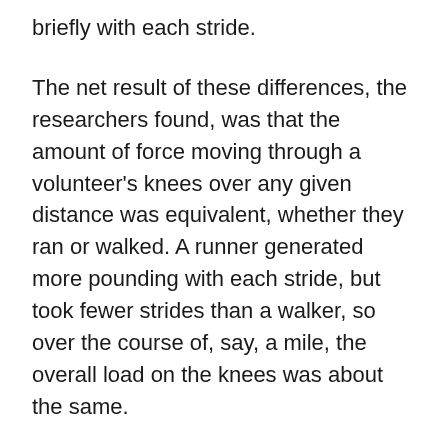briefly with each stride.
The net result of these differences, the researchers found, was that the amount of force moving through a volunteer's knees over any given distance was equivalent, whether they ran or walked. A runner generated more pounding with each stride, but took fewer strides than a walker, so over the course of, say, a mile, the overall load on the knees was about the same.
This finding provides a persuasive biomechanical explanation for why so few runners develop knee arthritis, said Ross Miller, now an assistant professor of kinesiology at the University of Maryland, who led the study. Measured over a